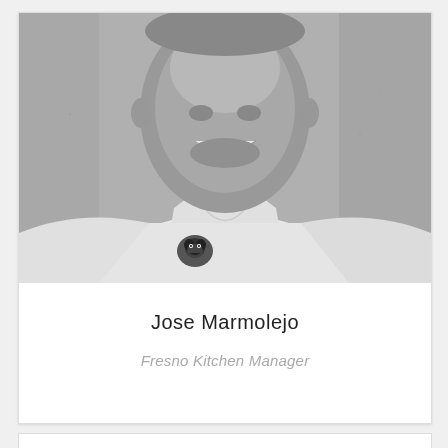[Figure (photo): Black and white portrait photo of Jose Marmolejo, a man wearing a white polo shirt with a logo on the chest, smiling at the camera. The photo is cropped from the shoulders up.]
Jose Marmolejo
Fresno Kitchen Manager